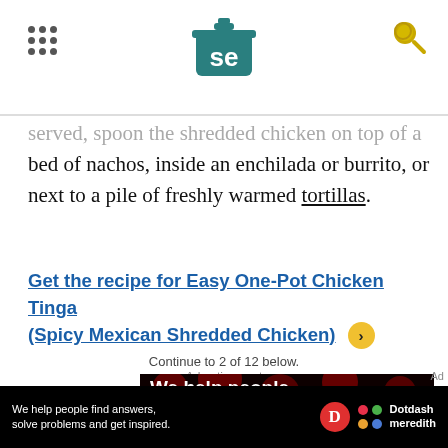Serious Eats header with logo and navigation
served, spoon the shredded chicken on top of a bed of nachos, inside an enchilada or burrito, or next to a pile of freshly warmed tortillas.
Get the recipe for Easy One-Pot Chicken Tinga (Spicy Mexican Shredded Chicken) →
Continue to 2 of 12 below.
Advertisement
[Figure (photo): Advertisement: 'We help people find answers, solve problems and get inspired' on dark background with red dot pattern. Dotdash Meredith branding overlay at bottom.]